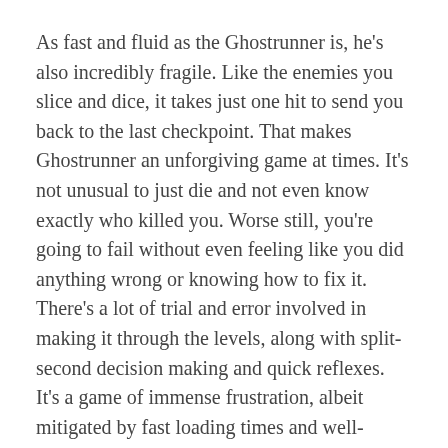As fast and fluid as the Ghostrunner is, he's also incredibly fragile. Like the enemies you slice and dice, it takes just one hit to send you back to the last checkpoint. That makes Ghostrunner an unforgiving game at times. It's not unusual to just die and not even know exactly who killed you. Worse still, you're going to fail without even feeling like you did anything wrong or knowing how to fix it. There's a lot of trial and error involved in making it through the levels, along with split-second decision making and quick reflexes. It's a game of immense frustration, albeit mitigated by fast loading times and well-placed checkpoints, and of soaring elation. All those annoyances and the dozens of deaths it took to finally nail the bad guys wash away, leaving that lovely endorphin rush us game junkies love so much.
To the game's credit, it understands that dying